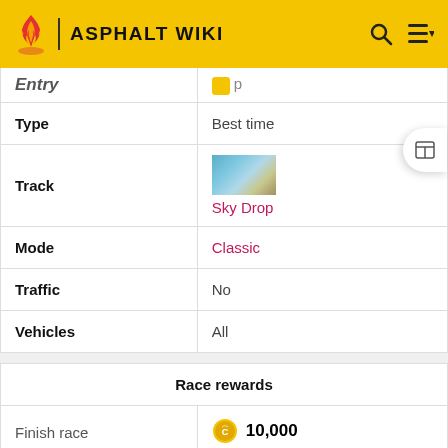ASPHALT WIKI
| Field | Value |
| --- | --- |
| Entry | (clipped) |
| Type | Best time |
| Track | Sky Drop |
| Mode | Classic |
| Traffic | No |
| Vehicles | All |
| Race rewards |  |
| --- | --- |
| Finish race | 10,000 |
| Leaderboard rewards |  |
| --- | --- |
| Top 7% | Uncommon Tech (partial) |